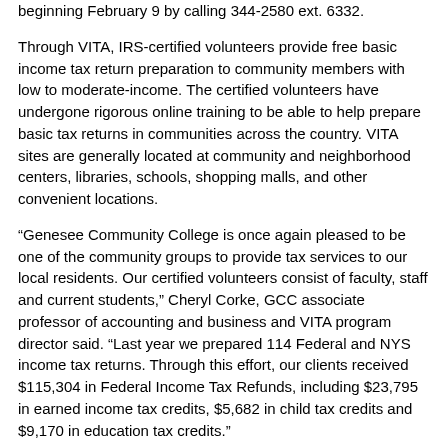beginning February 9 by calling 344-2580 ext. 6332.
Through VITA, IRS-certified volunteers provide free basic income tax return preparation to community members with low to moderate-income. The certified volunteers have undergone rigorous online training to be able to help prepare basic tax returns in communities across the country. VITA sites are generally located at community and neighborhood centers, libraries, schools, shopping malls, and other convenient locations.
“Genesee Community College is once again pleased to be one of the community groups to provide tax services to our local residents. Our certified volunteers consist of faculty, staff and current students,” Cheryl Corke, GCC associate professor of accounting and business and VITA program director said. “Last year we prepared 114 Federal and NYS income tax returns. Through this effort, our clients received $115,304 in Federal Income Tax Refunds, including $23,795 in earned income tax credits, $5,682 in child tax credits and $9,170 in education tax credits.”
The services are available to anyone whose household income is below $50,000 and does not require the filing of Schedule C or D.